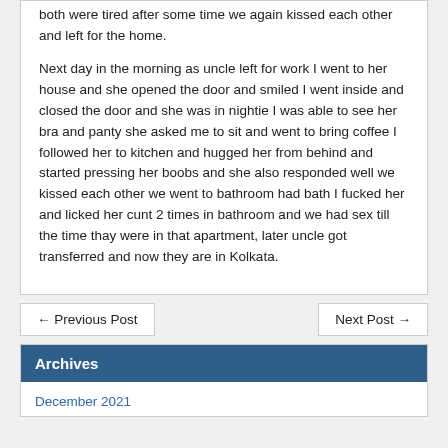both were tired after some time we again kissed each other and left for the home.

Next day in the morning as uncle left for work I went to her house and she opened the door and smiled I went inside and closed the door and she was in nightie I was able to see her bra and panty she asked me to sit and went to bring coffee I followed her to kitchen and hugged her from behind and started pressing her boobs and she also responded well we kissed each other we went to bathroom had bath I fucked her and licked her cunt 2 times in bathroom and we had sex till the time thay were in that apartment, later uncle got transferred and now they are in Kolkata.
← Previous Post
Next Post →
Archives
December 2021